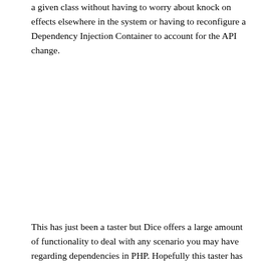a given class without having to worry about knock on effects elsewhere in the system or having to reconfigure a Dependency Injection Container to account for the API change.
This has just been a taster but Dice offers a large amount of functionality to deal with any scenario you may have regarding dependencies in PHP. Hopefully this taster has